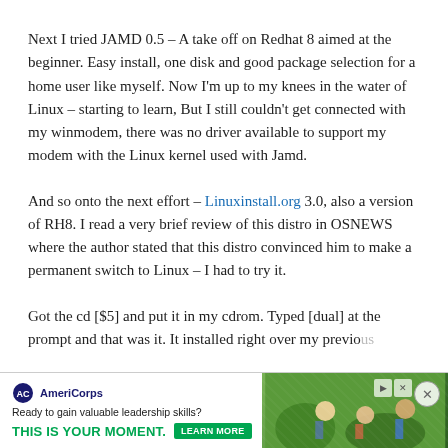Next I tried JAMD 0.5 – A take off on Redhat 8 aimed at the beginner. Easy install, one disk and good package selection for a home user like myself. Now I'm up to my knees in the water of Linux – starting to learn, But I still couldn't get connected with my winmodem, there was no driver available to support my modem with the Linux kernel used with Jamd.
And so onto the next effort – Linuxinstall.org 3.0, also a version of RH8. I read a very brief review of this distro in OSNEWS where the author stated that this distro convinced him to make a permanent switch to Linux – I had to try it.
Got the cd [$5] and put it in my cdrom. Typed [dual] at the prompt and that was it. It installed right over my previous [installation] and I didn't have to [...] this [...]
[Figure (other): AmeriCorps advertisement banner: 'Ready to gain valuable leadership skills? THIS IS YOUR MOMENT.' with a LEARN MORE button and a photo of people outdoors.]